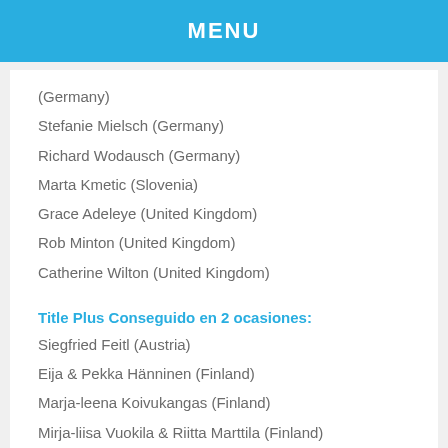MENU
(Germany)
Stefanie Mielsch (Germany)
Richard Wodausch (Germany)
Marta Kmetic (Slovenia)
Grace Adeleye (United Kingdom)
Rob Minton (United Kingdom)
Catherine Wilton (United Kingdom)
Title Plus Conseguido en 2 ocasiones:
Siegfried Feitl (Austria)
Eija & Pekka Hänninen (Finland)
Marja-leena Koivukangas (Finland)
Mirja-liisa Vuokila & Riitta Marttila (Finland)
Leila & Jorma Piilonen (Finland)